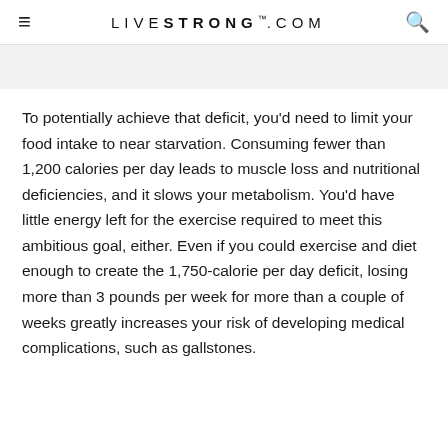LIVESTRONG.COM
To potentially achieve that deficit, you'd need to limit your food intake to near starvation. Consuming fewer than 1,200 calories per day leads to muscle loss and nutritional deficiencies, and it slows your metabolism. You'd have little energy left for the exercise required to meet this ambitious goal, either. Even if you could exercise and diet enough to create the 1,750-calorie per day deficit, losing more than 3 pounds per week for more than a couple of weeks greatly increases your risk of developing medical complications, such as gallstones.